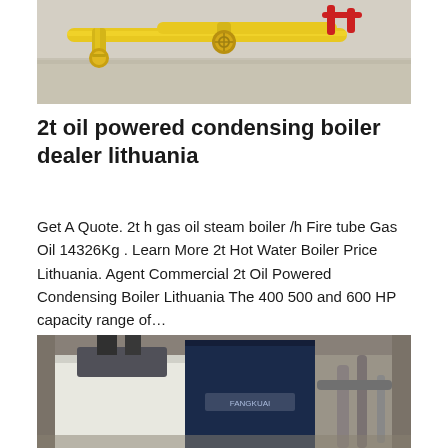[Figure (photo): Yellow industrial gas pipes and valves installed in a facility, showing yellow painted metal piping with valve connections and fittings on a light gray floor background.]
2t oil powered condensing boiler dealer lithuania
Get A Quote. 2t h gas oil steam boiler /h Fire tube Gas Oil 14326Kg . Learn More 2t Hot Water Boiler Price Lithuania. Agent Commercial 2t Oil Powered Condensing Boiler Lithuania The 400 500 and 600 HP capacity range of…
Get Price
[Figure (photo): Industrial boiler equipment in a factory/warehouse setting. Large white and dark blue industrial boiler or machinery visible, with metal ductwork and warehouse structure in the background.]